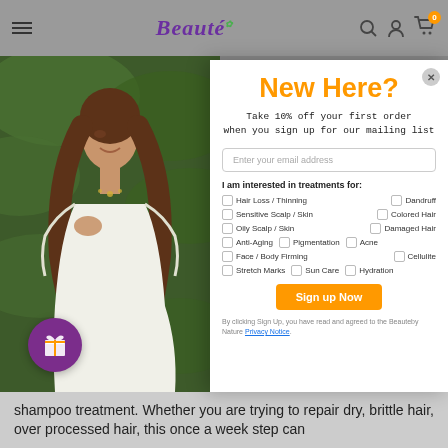Beauté — navigation header with hamburger menu, search, account, and cart icons (badge: 0)
[Figure (photo): Woman with long brown hair smiling among large green leaves, wearing a white shirt, with a purple gift button overlay]
New Here?
Take 10% off your first order when you sign up for our mailing list
Enter your email address
I am interested in treatments for:
Hair Loss / Thinning
Dandruff
Sensitive Scalp / Skin
Colored Hair
Oily Scalp / Skin
Damaged Hair
Anti-Aging
Pigmentation
Acne
Face / Body Firming
Cellulite
Stretch Marks
Sun Care
Hydration
Sign up Now
By clicking Sign Up, you have read and agreed to the Beauteby Nature Privacy Notice.
shampoo treatment. Whether you are trying to repair dry, brittle hair, over processed hair, this once a week step can